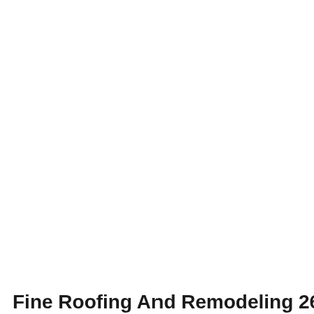Fine Roofing And Remodeling 2618 E Lake